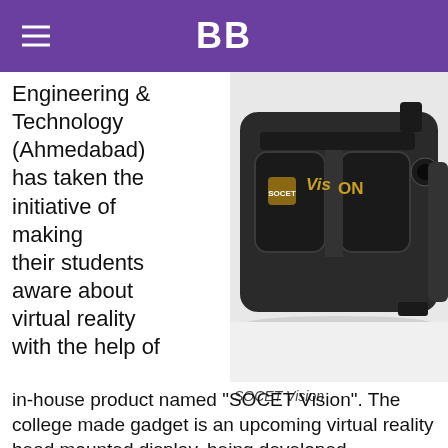BB
Engineering & Technology (Ahmedabad) has taken the initiative of making their students aware about virtual reality with the help of
[Figure (photo): Photo of SOCET Vision VR headset, a dark-colored cardboard-style head mounted display with gold SOCET Vision logo on the front, set against a white background.]
SOCET Vision
in-house product named “SOCET Vision”. The college made gadget is an upcoming virtual reality head mounted display, being developed exclusively by the CE/ IT department of the college. SOCET has provided students, a platform to understand, study and do R&D in the field of “VR Technology”. All the resources adding to this research like high-end graphics card NVIDIA GeForce GTX 690 and